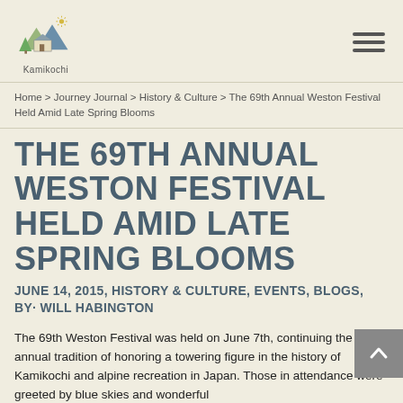Kamikochi
Home > Journey Journal > History & Culture > The 69th Annual Weston Festival Held Amid Late Spring Blooms
THE 69TH ANNUAL WESTON FESTIVAL HELD AMID LATE SPRING BLOOMS
JUNE 14, 2015, HISTORY & CULTURE, EVENTS, BLOGS, BY· WILL HABINGTON
The 69th Weston Festival was held on June 7th, continuing the annual tradition of honoring a towering figure in the history of Kamikochi and alpine recreation in Japan. Those in attendance were greeted by blue skies and wonderful